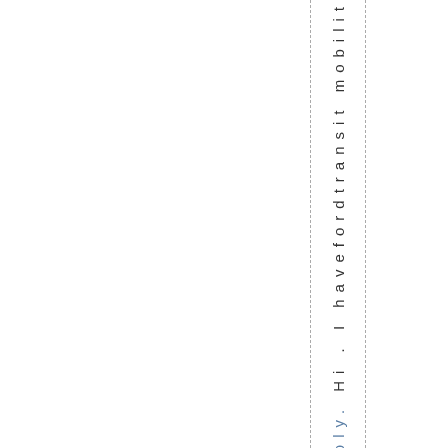ply. Hi . I havefordtransit mobilit